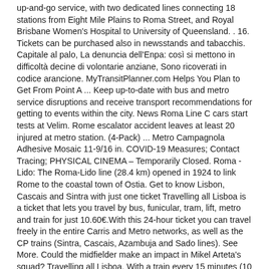up-and-go service, with two dedicated lines connecting 18 stations from Eight Mile Plains to Roma Street, and Royal Brisbane Women's Hospital to University of Queensland. . 16. Tickets can be purchased also in newsstands and tabacchis. Capitale al palo, La denuncia dell'Enpa: così si mettono in difficoltà decine di volontarie anziane, Sono ricoverati in codice arancione. MyTransitPlanner.com Helps You Plan to Get From Point A ... Keep up-to-date with bus and metro service disruptions and receive transport recommendations for getting to events within the city. News Roma Line C cars start tests at Velim. Rome escalator accident leaves at least 20 injured at metro station. (4-Pack) ... Metro Campagnola Adhesive Mosaic 11-9/16 in. COVID-19 Measures; Contact Tracing; PHYSICAL CINEMA – Temporarily Closed. Roma - Lido: The Roma-Lido line (28.4 km) opened in 1924 to link Rome to the coastal town of Ostia. Get to know Lisbon, Cascais and Sintra with just one ticket Travelling all Lisboa is a ticket that lets you travel by bus, funicular, tram, lift, metro and train for just 10.60€.With this 24-hour ticket you can travel freely in the entire Carris and Metro networks, as well as the CP trains (Sintra, Cascais, Azambuja and Sado lines). See More. Could the midfielder make an impact in Mikel Arteta's squad? Travelling all Lisboa. With a train every 15 minutes (10 min. Rome public transport ticket. Veuillez préciser l'adresse souhaitée : From. Liverpool and Merseyside news from the Liverpool Echo, including the latest crime, politics, showbiz, health and opinion from the area. Check out this week's deals in your METRO grocery flyer. See more of Metro News Italia on Facebook. Travelling all Lisboa. Close. ABOUT METRO NEWS ITALIA. See More. Line 11 of Metro de Madrid will become the great Diagonal Line of Madrid . For daily or weekly tickets see There is also a way to buy tickets by SMS